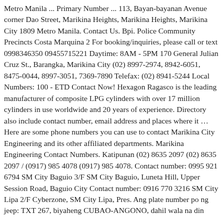Metro Manila ... Primary Number ... 113, Bayan-bayanan Avenue corner Dao Street, Marikina Heights, Marikina Heights, Marikina City 1809 Metro Manila. Contact Us. Bpi. Police Community Precincts Costa Marquina 2 For booking/inquiries, please call or text 0998346350 09455715221 Daytime: 8AM - 5PM 170 General Julian Cruz St., Barangka, Marikina City (02) 8997-2974, 8942-6051, 8475-0044, 8997-3051, 7369-7890 Telefax: (02) 8941-5244 Local Numbers: 100 - ETD Contact Now! Hexagon Ragasco is the leading manufacturer of composite LPG cylinders with over 17 million cylinders in use worldwide and 20 years of experience. Directory also include contact number, email address and places where it … Here are some phone numbers you can use to contact Marikina City Engineering and its other affiliated departments. Marikina Engineering Contact Numbers. Katipunan (02) 8635 2097 (02) 8635 2097 / (0917) 985 4078 (0917) 985 4078. Contact number: 0995 921 6794 SM City Baguio 3/F SM City Baguio, Luneta Hill, Upper Session Road, Baguio City Contact number: 0916 770 3216 SM City Lipa 2/F Cyberzone, SM City Lipa, Pres. Ang plate number po ng jeep: TXT 267, biyaheng CUBAO-ANGONO, dahil wala na din